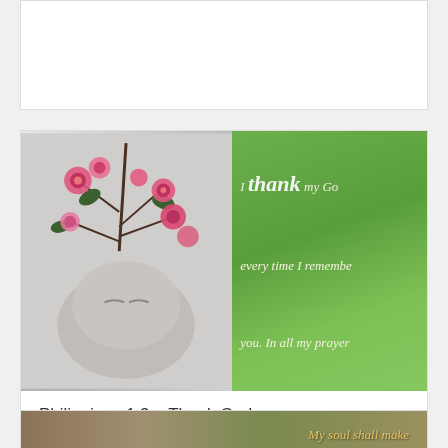[Figure (illustration): Top white card area, mostly blank/white background]
[Figure (photo): Split image: left half shows pink camelia flowers on a stone Buddha head sculpture against a light background; right half shows a green background with cursive scripture text reading 'I thank my Go[d] every time I remembe[r] you. In all my prayer[s]' in dark red and white lettering]
Philippians 1:3 – Thank God
[Figure (photo): Partial bottom image showing rocky/stone texture background with golden italic text reading 'My soul shall make']